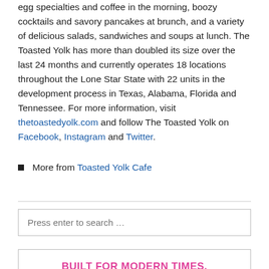egg specialties and coffee in the morning, boozy cocktails and savory pancakes at brunch, and a variety of delicious salads, sandwiches and soups at lunch. The Toasted Yolk has more than doubled its size over the last 24 months and currently operates 18 locations throughout the Lone Star State with 22 units in the development process in Texas, Alabama, Florida and Tennessee. For more information, visit thetoastedyolk.com and follow The Toasted Yolk on Facebook, Instagram and Twitter.
More from Toasted Yolk Cafe
Press enter to search …
[Figure (infographic): Advertisement for Miami Grill with text: BUILT FOR MODERN TIMES. DESIGNED FOR FLEXIBILITY. Invest in Miami Grill's booming business today. Background image of palm trees at bottom.]